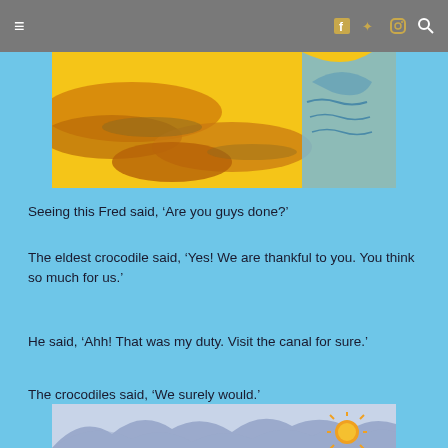≡  [navigation bar with social icons]
[Figure (illustration): Colorful illustration showing crocodiles in a yellow/orange landscape with blue water on the right side]
Seeing this Fred said, ‘Are you guys done?’
The eldest crocodile said, ‘Yes! We are thankful to you. You think so much for us.’
He said, ‘Ahh! That was my duty. Visit the canal for sure.’
The crocodiles said, ‘We surely would.’
[Figure (illustration): Bottom illustration showing a sunny landscape with blue/purple mountains and a bright orange sun with rays]